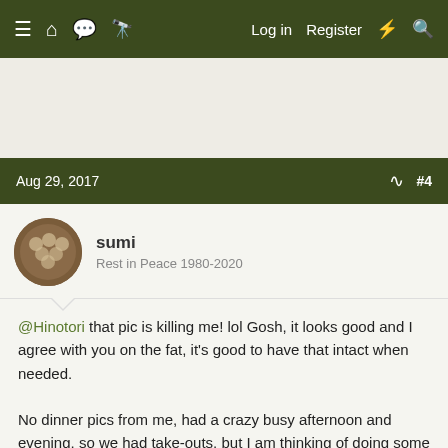≡  🏠  💬  ▦  Log in  Register  ⚡  🔍
[Figure (other): Advertisement banner area, blank/light beige]
Aug 29, 2017   #4
sumi
Rest in Peace 1980-2020
@Hinotori that pic is killing me! lol Gosh, it looks good and I agree with you on the fat, it's good to have that intact when needed.

No dinner pics from me, had a crazy busy afternoon and evening, so we had take-outs, but I am thinking of doing some pies tonight 🙂 Been awhile since I baked some and I see the supermarket has marinaded pork ribs on special now… If you ever had a rib pie… Yum!